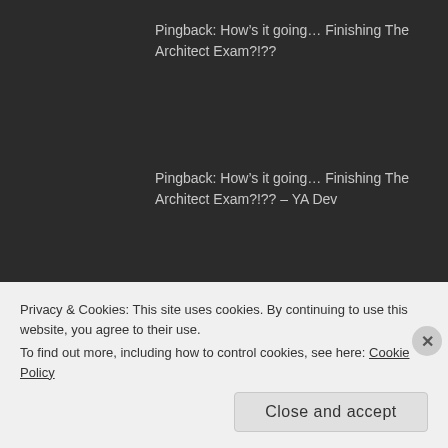Pingback: How’s it going… Finishing The Architect Exam?!??
Pingback: How’s it going… Finishing The Architect Exam?!?? – YA Dev
Leave a Reply to FiELD9arch Cancel reply
Your email address will not be published. Required fields are marked *
Privacy & Cookies: This site uses cookies. By continuing to use this website, you agree to their use.
To find out more, including how to control cookies, see here: Cookie Policy